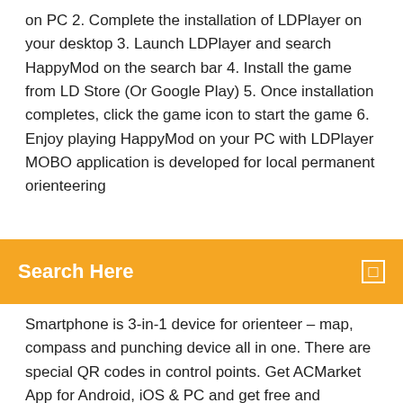on PC 2. Complete the installation of LDPlayer on your desktop 3. Launch LDPlayer and search HappyMod on the search bar 4. Install the game from LD Store (Or Google Play) 5. Once installation completes, click the game icon to start the game 6. Enjoy playing HappyMod on your PC with LDPlayer MOBO application is developed for local permanent orienteering
Search Here
Smartphone is 3-in-1 device for orienteer – map, compass and punching device all in one. There are special QR codes in control points. Get ACMarket App for Android, iOS & PC and get free and modified apps and apk's. Download AC Market app store now on your device and enjoy access to unlimited modified apps and games. 08/10/2020 Download a 1xWin application from the 1xbet official website. 1xWin app is the correct name for 1xbet app for Windows devices. It is available for the bettors for free on the official 1xbet website. Click 'Run'